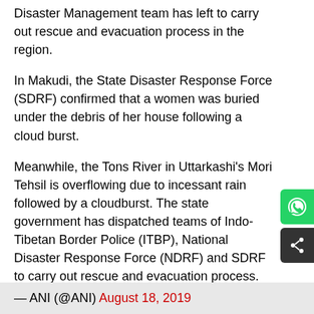Disaster Management team has left to carry out rescue and evacuation process in the region.
In Makudi, the State Disaster Response Force (SDRF) confirmed that a women was buried under the debris of her house following a cloud burst.
Meanwhile, the Tons River in Uttarkashi's Mori Tehsil is overflowing due to incessant rain followed by a cloudburst. The state government has dispatched teams of Indo-Tibetan Border Police (ITBP), National Disaster Response Force (NDRF) and SDRF to carry out rescue and evacuation process.
#WATCH Tons river in U[Read in App]tehsil overflows following cloudburst in the area. Teams of ITBP, SDRF and NDRF engaged in rescue and evacuation. #Uttarakhand pic.twitter.com/fOpE6J30Kg
— ANI (@ANI) August 18, 2019